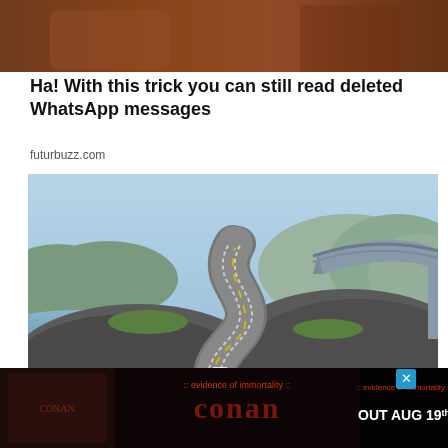[Figure (photo): Partial photo of a person, brown tones, cropped at top of page]
Ha! With this trick you can still read deleted WhatsApp messages
futurbuzz.com
[Figure (photo): Scenic photo of the Atlantic Ocean Road in Norway - a winding S-curve road over rocky hills with a dramatic arched bridge in the background, water visible on the left, a white car on the road, mountains in the distance]
[Figure (photo): Advertisement banner for Conan album 'Evidence of Immortality' - OUT AUG 19th, with metal/gothic styling and dark imagery]